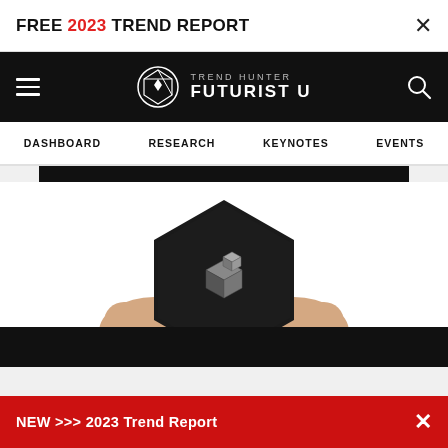FREE 2023 TREND REPORT ×
[Figure (logo): Trend Hunter Futurist U logo with navigation bar (hamburger menu, circular logo mark, TREND HUNTER FUTURIST U text, search icon) on black background]
DASHBOARD   RESEARCH   KEYNOTES   EVENTS
[Figure (photo): Hands holding a black hexagonal device with a cube logo on white background, with black strip at top and bottom]
NEW >>> 2023 Trend Report ×